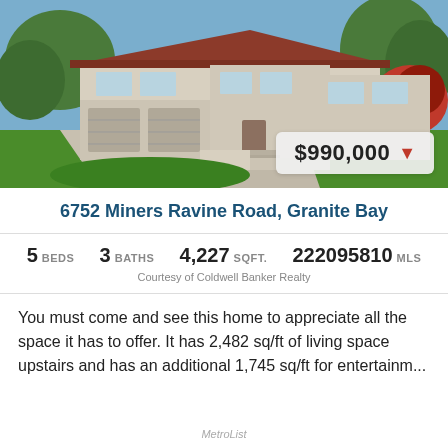[Figure (photo): Exterior photo of a single-story residential home with beige stucco walls, brown trim, three-car garage, concrete driveway, green lawn, and flowering bushes, with trees in background and blue sky.]
6752 Miners Ravine Road, Granite Bay
5 BEDS   3 BATHS   4,227 SQFT.   222095810 MLS
Courtesy of Coldwell Banker Realty
You must come and see this home to appreciate all the space it has to offer. It has 2,482 sq/ft of living space upstairs and has an additional 1,745 sq/ft for entertainm...
MetroList